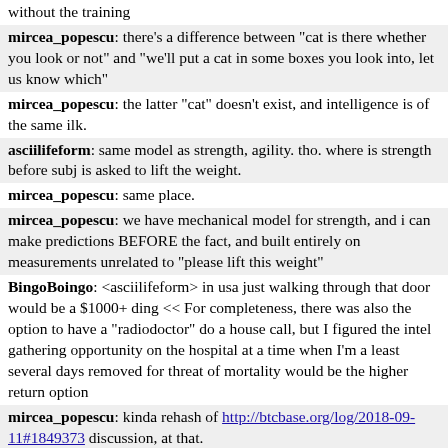without the training
mircea_popescu: there's a difference between "cat is there whether you look or not" and "we'll put a cat in some boxes you look into, let us know which"
mircea_popescu: the latter "cat" doesn't exist, and intelligence is of the same ilk.
asciilifeform: same model as strength, agility. tho. where is strength before subj is asked to lift the weight.
mircea_popescu: same place.
mircea_popescu: we have mechanical model for strength, and i can make predictions BEFORE the fact, and built entirely on measurements unrelated to "please lift this weight"
BingoBoingo: <asciilifeform> in usa just walking through that door would be a $1000+ ding << For completeness, there was also the option to have a "radiodoctor" do a house call, but I figured the intel gathering opportunity on the hospital at a time when I'm a least several days removed for threat of mortality would be the higher return option
mircea_popescu: kinda rehash of http://btcbase.org/log/2018-09-11#1849373 discussion, at that.
a111: Logged on 2018-09-11 00:26 mircea_popescu: "i have this inorganic polymerization model which permits me to predict the behaviour of calcium-based matrices and also predicts that should you replace the calcium with strontium, the oxigen content cvadruples ans there's need for an item extra in there that's just like